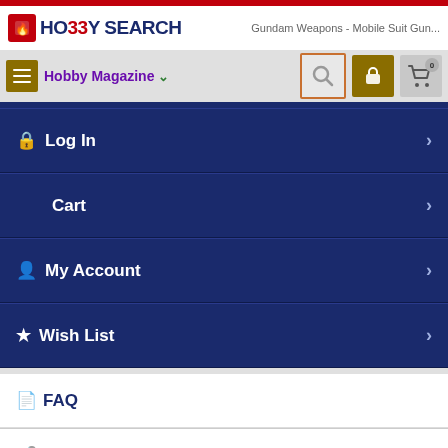HO33Y SEARCH — Gundam Weapons - Mobile Suit Gun...
[Figure (screenshot): Navigation bar with hamburger menu, Hobby Magazine dropdown, search icon, lock icon, and cart icon with 0 badge]
Log In
Cart
My Account
Wish List
FAQ
First Time
Ranking